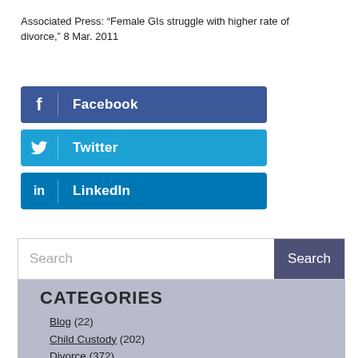Associated Press: “Female GIs struggle with higher rate of divorce,” 8 Mar. 2011
[Figure (other): Facebook social share button (dark blue)]
[Figure (other): Twitter social share button (light blue)]
[Figure (other): LinkedIn social share button (medium blue)]
Search
CATEGORIES
Blog (22)
Child Custody (202)
Divorce (372)